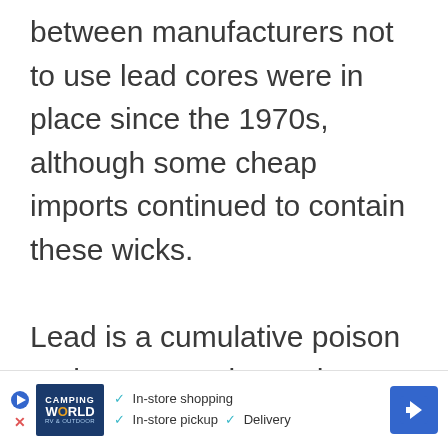between manufacturers not to use lead cores were in place since the 1970s, although some cheap imports continued to contain these wicks.

Lead is a cumulative poison and can never leave the body. Additionally, it not only affects humans but all animals and can be passed along the food chain.
[Figure (other): Advertisement banner for Camping World showing In-store shopping, In-store pickup, and Delivery options with a blue navigation arrow icon.]